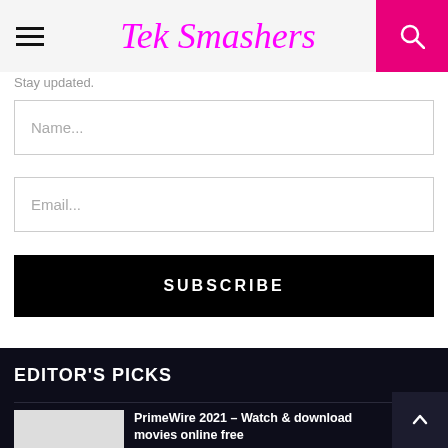Tek Smashers
Stay updated.
Name...
Email...
SUBSCRIBE
EDITOR'S PICKS
PrimeWire 2021 – Watch & download movies online free
May 20, 2021   0